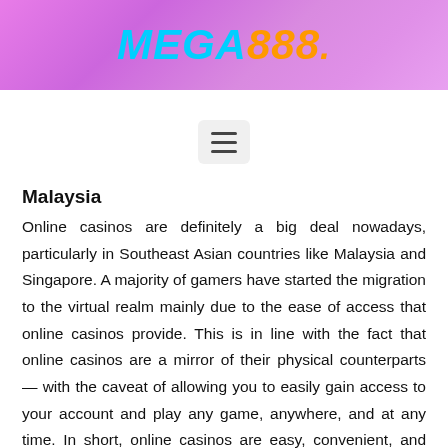[Figure (logo): MEGA888 logo with cyan 'MEGA' and orange '888' text on purple/pink gradient background header bar]
[Figure (other): Hamburger menu icon (three horizontal lines) in a rounded grey button]
Malaysia
Online casinos are definitely a big deal nowadays, particularly in Southeast Asian countries like Malaysia and Singapore. A majority of gamers have started the migration to the virtual realm mainly due to the ease of access that online casinos provide. This is in line with the fact that online casinos are a mirror of their physical counterparts — with the caveat of allowing you to easily gain access to your account and play any game, anywhere, and at any time. In short, online casinos are easy, convenient, and well-received by a majority of the Malaysian gaming community. And at the top of this (online casino) mountain sits